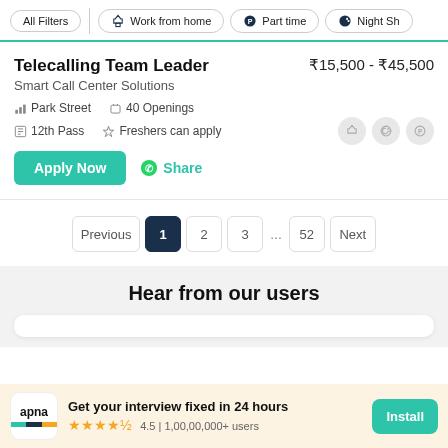All Filters | Work from home | Part time | Night Sh
Telecalling Team Leader
Smart Call Center Solutions
₹15,500 - ₹45,500
Park Street
40 Openings
12th Pass
Freshers can apply
Apply Now  Share
Previous  1  2  3  ...  52  Next
Hear from our users
Get your interview fixed in 24 hours  4.5 | 1,00,00,000+ users  Install